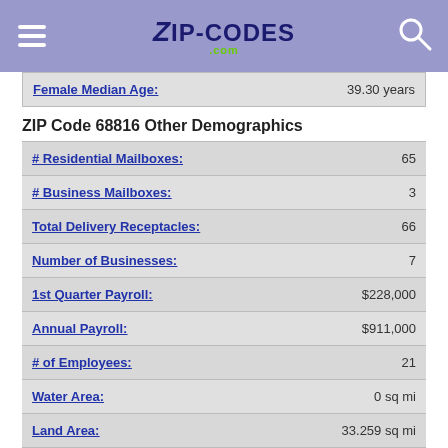Zip-Codes.com
| Label | Value |
| --- | --- |
| Female Median Age: | 39.30 years |
ZIP Code 68816 Other Demographics
| Label | Value |
| --- | --- |
| # Residential Mailboxes: | 65 |
| # Business Mailboxes: | 3 |
| Total Delivery Receptacles: | 66 |
| Number of Businesses: | 7 |
| 1st Quarter Payroll: | $228,000 |
| Annual Payroll: | $911,000 |
| # of Employees: | 21 |
| Water Area: | 0 sq mi |
| Land Area: | 33.259 sq mi |
| 112th Congressional District: | 02 |